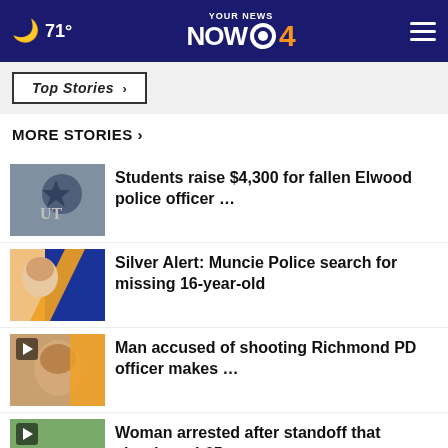YOUR NEWS NOW CBS 4 — 71°
Top Stories ›
MORE STORIES ›
Students raise $4,300 for fallen Elwood police officer …
Silver Alert: Muncie Police search for missing 16-year-old
Man accused of shooting Richmond PD officer makes …
Woman arrested after standoff that shutdown I-65
Indiana farmers hope for 'strong safety net' in next